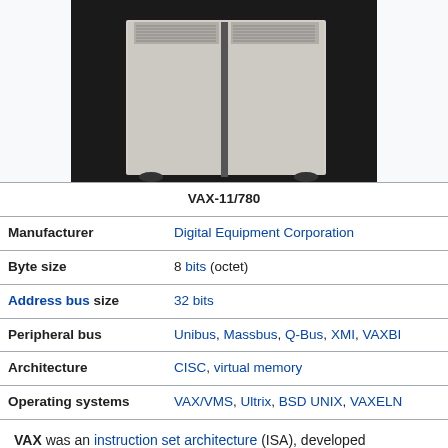[Figure (photo): Photo of a VAX-11/780 computer system — a large beige/cream colored cabinet unit with ventilation grilles at the top, shown against a dark background]
|  | VAX-11/780 |
| --- | --- |
| Manufacturer | Digital Equipment Corporation |
| Byte size | 8 bits (octet) |
| Address bus size | 32 bits |
| Peripheral bus | Unibus, Massbus, Q-Bus, XMI, VAXBI |
| Architecture | CISC, virtual memory |
| Operating systems | VAX/VMS, Ultrix, BSD UNIX, VAXELN |
VAX was an instruction set architecture (ISA), developed